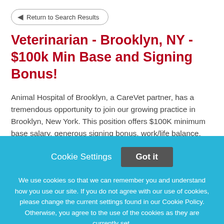Return to Search Results
Veterinarian - Brooklyn, NY - $100k Min Base and Signing Bonus!
Animal Hospital of Brooklyn, a CareVet partner, has a tremendous opportunity to join our growing practice in Brooklyn, New York. This position offers $100K minimum base salary, generous signing bonus, work/life balance,
Cookie Settings  Got it
We use cookies so that we can remember you and understand how you use our site. If you do not agree with our use of cookies, please change the current settings found in our Cookie Policy. Otherwise, you agree to the use of the cookies as they are currently set.